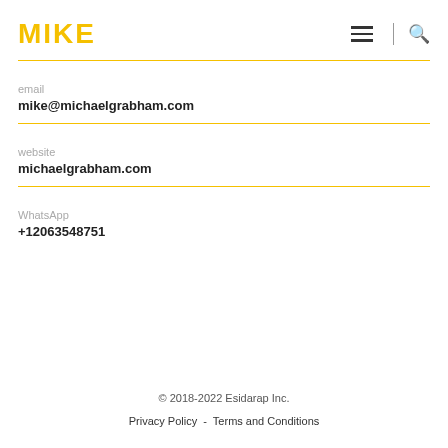MIKE
email
mike@michaelgrabham.com
website
michaelgrabham.com
WhatsApp
+12063548751
© 2018-2022 Esidarap Inc.
Privacy Policy - Terms and Conditions